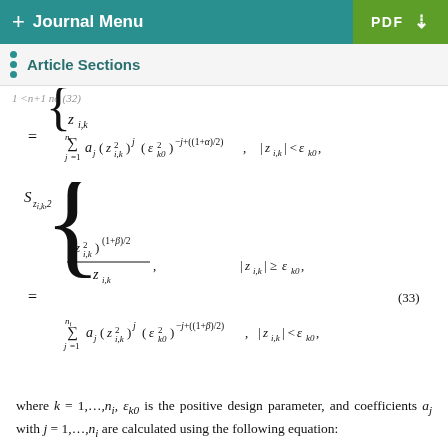+ Journal Menu   PDF ↓
Article Sections
where k = 1, …, n_i, ε_k0 is the positive design parameter, and coefficients a_j with j = 1, …, n_i are calculated using the following equation: